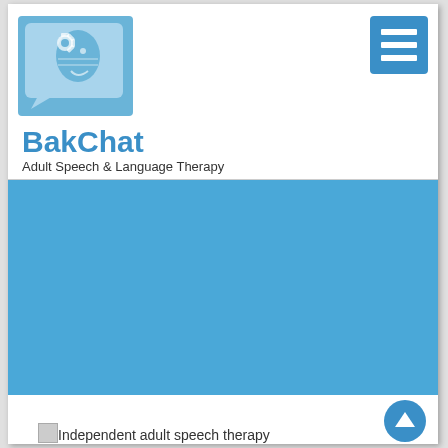[Figure (logo): BakChat logo: light blue speech bubble with a robotic/gear human head silhouette inside]
[Figure (other): Hamburger menu icon (three white horizontal lines on blue square background)]
BakChat
Adult Speech & Language Therapy
[Figure (photo): Large blue/teal banner image area (image content not visible, solid blue placeholder)]
[Figure (other): Scroll-to-top circular blue button with white upward arrow]
Independent adult speech therapy